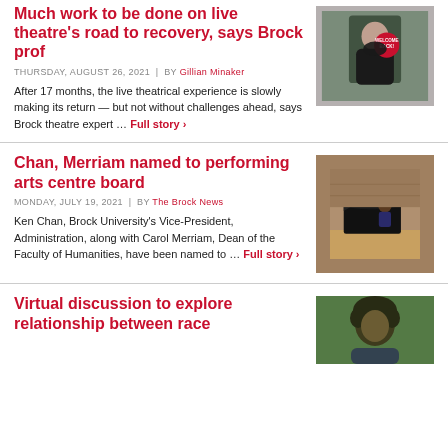Much work to be done on live theatre's road to recovery, says Brock prof
THURSDAY, AUGUST 26, 2021 | by Gillian Minaker
After 17 months, the live theatrical experience is slowly making its return — but not without challenges ahead, says Brock theatre expert … Full story ›
[Figure (photo): Person wearing a mask holding a red 'Welcome Back!' sign]
Chan, Merriam named to performing arts centre board
MONDAY, JULY 19, 2021 | by The Brock News
Ken Chan, Brock University's Vice-President, Administration, along with Carol Merriam, Dean of the Faculty of Humanities, have been named to … Full story ›
[Figure (photo): Person playing a grand piano on a stage]
Virtual discussion to explore relationship between race
[Figure (photo): Person with curly hair outdoors]